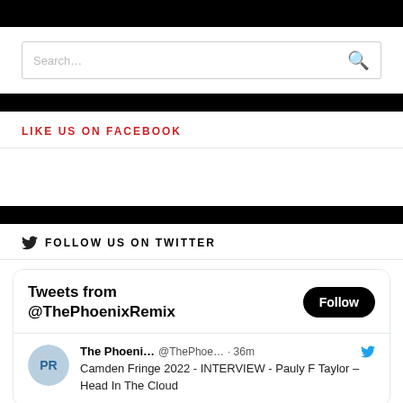[Figure (screenshot): Search bar with placeholder text 'Search...' and a red magnifying glass icon on the right]
LIKE US ON FACEBOOK
FOLLOW US ON TWITTER
[Figure (screenshot): Twitter widget showing 'Tweets from @ThePhoenixRemix' with a Follow button, and a tweet by 'The Phoeni... @ThePhoe... · 36m' with text 'Camden Fringe 2022 - INTERVIEW - Pauly F Taylor – Head In The Cloud']